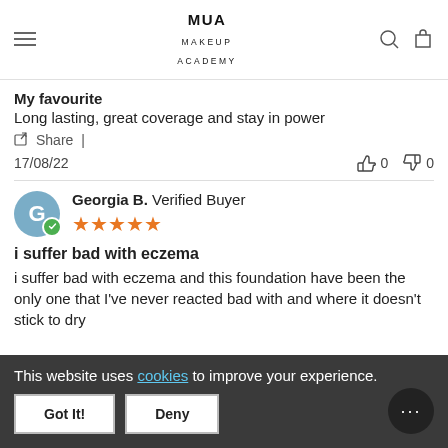MUA MAKEUP ACADEMY
My favourite
Long lasting, great coverage and stay in power
Share |
17/08/22   👍 0  👎 0
Georgia B. Verified Buyer ★★★★★
i suffer bad with eczema
i suffer bad with eczema and this foundation have been the only one that I've never reacted bad with and where it doesn't stick to dry
This website uses cookies to improve your experience.
Got It!
Deny